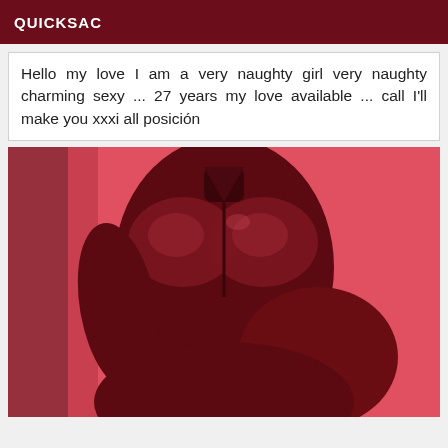QUICKSAC
Hello my love I am a very naughty girl very naughty charming sexy ... 27 years my love available ... call I'll make you xxxi all posición
[Figure (photo): A person wearing a dark red/maroon latex outfit photographed against a pink-red background. The figure is shown from neck to lower body, highlighting the fitted latex clothing.]